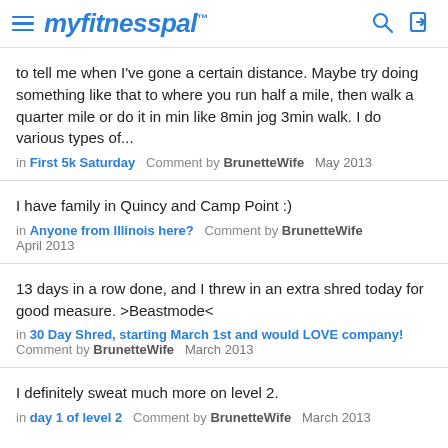myfitnesspal
to tell me when I've gone a certain distance. Maybe try doing something like that to where you run half a mile, then walk a quarter mile or do it in min like 8min jog 3min walk. I do various types of...
in First 5k Saturday   Comment by BrunetteWife   May 2013
I have family in Quincy and Camp Point :)
in Anyone from Illinois here?   Comment by BrunetteWife   April 2013
13 days in a row done, and I threw in an extra shred today for good measure. >Beastmode<
in 30 Day Shred, starting March 1st and would LOVE company!   Comment by BrunetteWife   March 2013
I definitely sweat much more on level 2.
in day 1 of level 2   Comment by BrunetteWife   March 2013